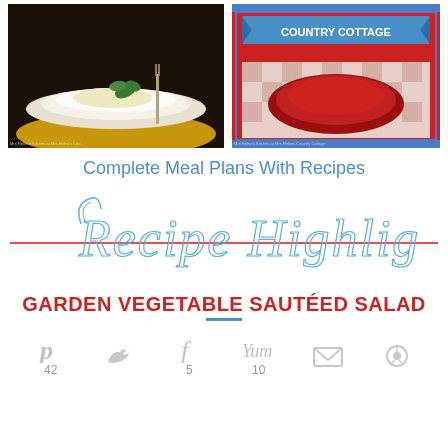[Figure (photo): Left: photo of food on stacked plates with mint garnish; Right: book cover with red plate on checkered tablecloth, 'Country Cottage' text]
Complete Meal Plans With Recipes
[Figure (illustration): Decorative script text 'Recipe Highlights' in blue cursive with red horizontal divider lines]
GARDEN VEGETABLE SAUTÉED SALAD
[Figure (other): Social sharing bar with Pinterest (42), Twitter, Facebook (5), Yummly (10), Email, and another share button icons]
42
5
10